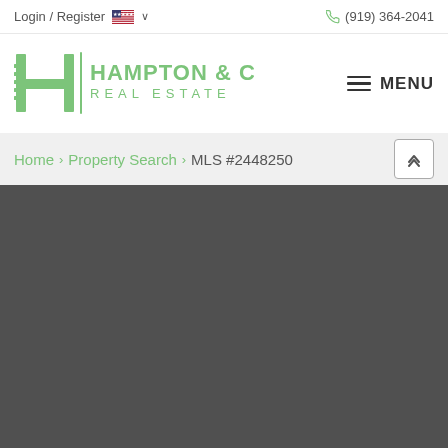Login / Register  🇺🇸 ∨    (919) 364-2041
[Figure (logo): Hampton & Company Real Estate logo with stylized H and key icon in green, company name in green text]
≡ MENU
Home > Property Search > MLS #2448250